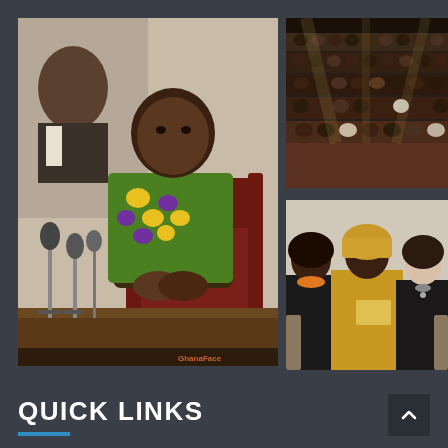[Figure (photo): Man in colorful African print shirt sitting in leather chair at a press conference with microphones in front of him and a portrait of an elder statesman in the background]
[Figure (photo): Audience seated in an auditorium or conference hall, viewed from the stage, with rows of people in a darkened venue]
[Figure (photo): Three women sitting together on a sofa, one wearing an orange/yellow headwrap and traditional African attire, one in a black top with orange necklace, and one in a black dress]
QUICK LINKS